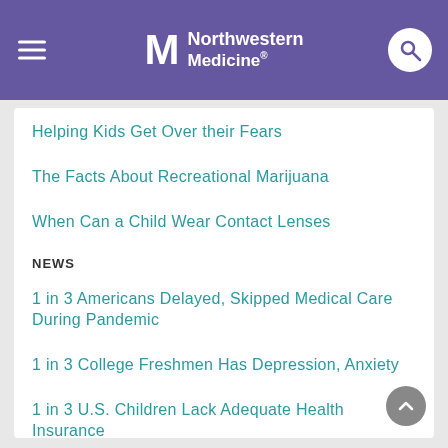Northwestern Medicine
Helping Kids Get Over their Fears
The Facts About Recreational Marijuana
When Can a Child Wear Contact Lenses
NEWS
1 in 3 Americans Delayed, Skipped Medical Care During Pandemic
1 in 3 College Freshmen Has Depression, Anxiety
1 in 3 U.S. Children Lack Adequate Health Insurance
View All 723